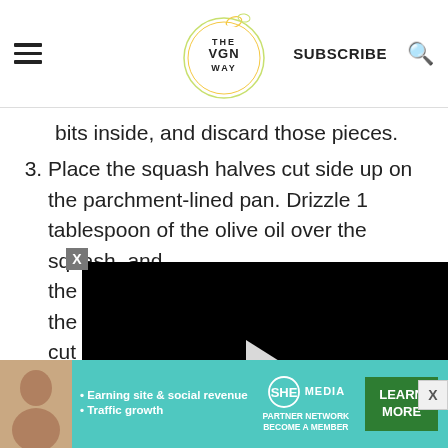THE VGN WAY | SUBSCRIBE
bits inside, and discard those pieces.
3. Place the squash halves cut side up on the parchment-lined pan. Drizzle 1 tablespoon of the olive oil over the squash, and sprinkle with 1/4 teaspoon of the salt. Rub the oil and salt all over the squash, then flip them over so the cut sides are facing down. Roast until the squash flesh is very tender and cooked through by a knife, about 50 to 60 minutes.
[Figure (screenshot): Embedded video player with black background, play button, progress bar showing 13:52, and controls including mute, CC, grid, settings, and fullscreen.]
[Figure (infographic): Advertisement banner for SHE Media Partner Network promoting earning site & social revenue and traffic growth, with a LEARN MORE button.]